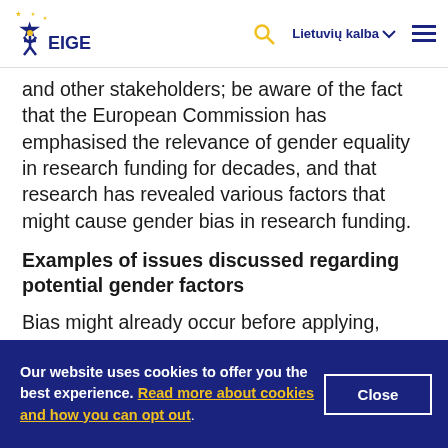[Figure (logo): EIGE logo — blue and yellow star with figure, text EIGE]
and other stakeholders; be aware of the fact that the European Commission has emphasised the relevance of gender equality in research funding for decades, and that research has revealed various factors that might cause gender bias in research funding.
Examples of issues discussed regarding potential gender factors
Bias might already occur before applying, referring
Our website uses cookies to offer you the best experience. Read more about cookies and how you can opt out.